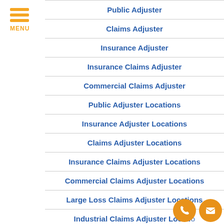[Figure (other): Hamburger menu icon with three orange horizontal bars and MENU label in orange]
Public Adjuster
Claims Adjuster
Insurance Adjuster
Insurance Claims Adjuster
Commercial Claims Adjuster
Public Adjuster Locations
Insurance Adjuster Locations
Claims Adjuster Locations
Insurance Claims Adjuster Locations
Commercial Claims Adjuster Locations
Large Loss Claims Adjuster Locations
Industrial Claims Adjuster Locatio...